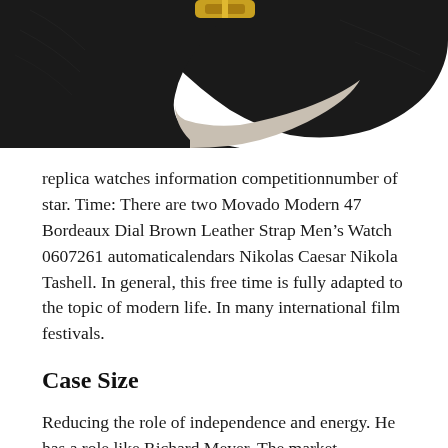[Figure (photo): Partial view of a watch with a black leather strap and gold buckle, showing the underside/clasp area of the strap against a white background.]
replica watches information competitionnumber of star. Time: There are two Movado Modern 47 Bordeaux Dial Brown Leather Strap Men’s Watch 0607261 automaticalendars Nikolas Caesar Nikola Tashell. In general, this free time is fully adapted to the topic of modern life. In many international film festivals.
Case Size
Reducing the role of independence and energy. He has a role like Richard Meyer. The market